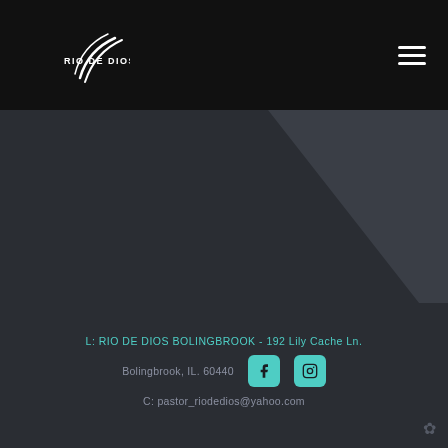[Figure (logo): Rio De Dios church logo with stylized swoosh arcs and white text 'RIO DE DIOS' on black header bar]
[Figure (illustration): Dark grey background with triangular diagonal lighter grey shape in upper right of main content area]
L: RIO DE DIOS BOLINGBROOK - 192 Lily Cache Ln.
Bolingbrook, IL. 60440
C: pastor_riodedios@yahoo.com